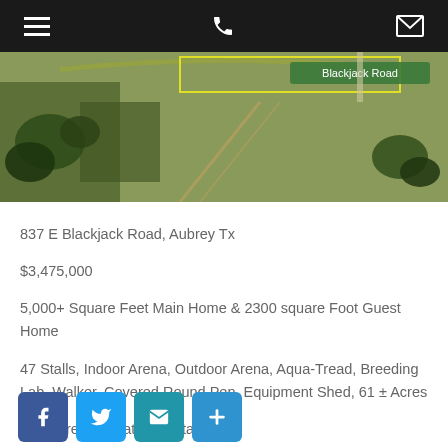Navigation bar with hamburger menu, phone icon, and mail icon
[Figure (photo): Aerial satellite view of a rural property with 'Blackjack Road' label in green, showing farmland with tree lines and dirt paths.]
837 E Blackjack Road, Aubrey Tx
$3,475,000
5,000+ Square Feet Main Home & 2300 square Foot Guest Home
47 Stalls, Indoor Arena, Outdoor Arena, Aqua-Tread, Breeding Lab, Walker, Covered Round Pen, Equipment Shed, 61 ± Acres
For More information contact us:
Sarah Boyd
214.649.4403
sarah@sarahboydandco.com